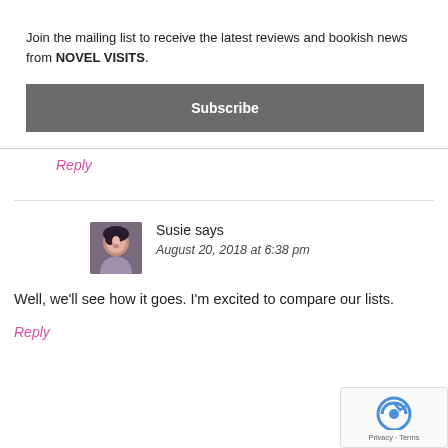Join the mailing list to receive the latest reviews and bookish news from NOVEL VISITS.
Subscribe
Reply
Susie says
August 20, 2018 at 6:38 pm
Well, we'll see how it goes. I'm excited to compare our lists.
Reply